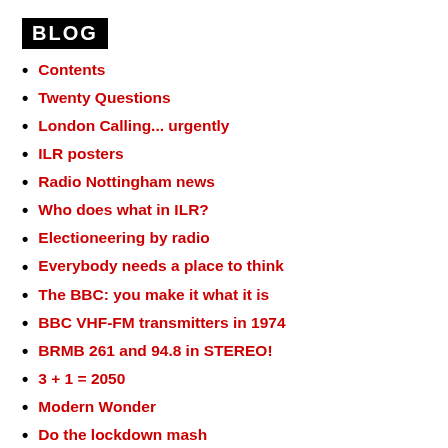BLOG
Contents
Twenty Questions
London Calling... urgently
ILR posters
Radio Nottingham news
Who does what in ILR?
Electioneering by radio
Everybody needs a place to think
The BBC: you make it what it is
BBC VHF-FM transmitters in 1974
BRMB 261 and 94.8 in STEREO!
3 + 1 = 2050
Modern Wonder
Do the lockdown mash
BBC Oneness
5@25
Remembering Jo Kendall